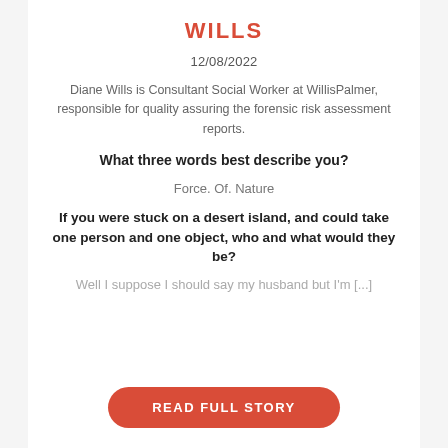WILLS
12/08/2022
Diane Wills is Consultant Social Worker at WillisPalmer, responsible for quality assuring the forensic risk assessment reports.
What three words best describe you?
Force. Of. Nature
If you were stuck on a desert island, and could take one person and one object, who and what would they be?
Well I suppose I should say my husband but I'm [...]
READ FULL STORY